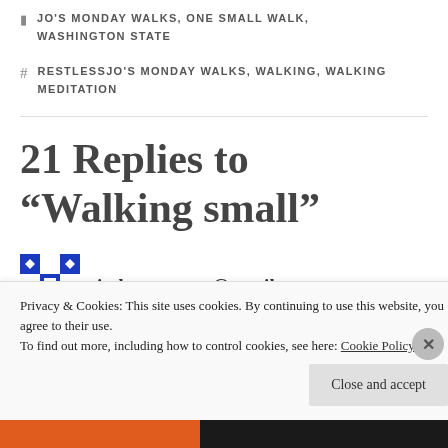JO'S MONDAY WALKS, ONE SMALL WALK, WASHINGTON STATE
RESTLESSJO'S MONDAY WALKS, WALKING, WALKING MEDITATION
21 Replies to “Walking small”
[Figure (illustration): Blue and white geometric patterned avatar square image with diamond and square shapes]
judy.guarnera@gmail.com
Privacy & Cookies: This site uses cookies. By continuing to use this website, you agree to their use.
To find out more, including how to control cookies, see here: Cookie Policy
Close and accept